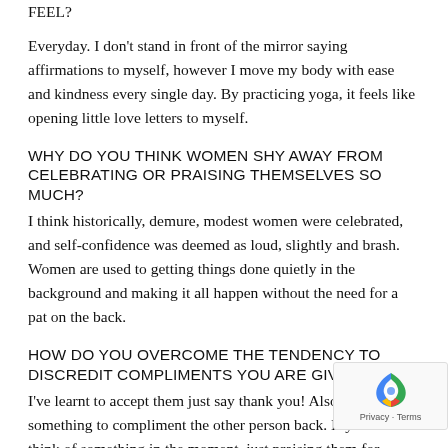FEEL?
Everyday. I don't stand in front of the mirror saying affirmations to myself, however I move my body with ease and kindness every single day. By practicing yoga, it feels like opening little love letters to myself.
WHY DO YOU THINK WOMEN SHY AWAY FROM CELEBRATING OR PRAISING THEMSELVES SO MUCH?
I think historically, demure, modest women were celebrated, and self-confidence was deemed as loud, slightly and brash. Women are used to getting things done quietly in the background and making it all happen without the need for a pat on the back.
HOW DO YOU OVERCOME THE TENDENCY TO DISCREDIT COMPLIMENTS YOU ARE GIVEN?
I've learnt to accept them just say thank you! Also find something to compliment the other person back. If you can't think of something in the moment, just praising them for saying the compliment to you and making you feel great is enough.